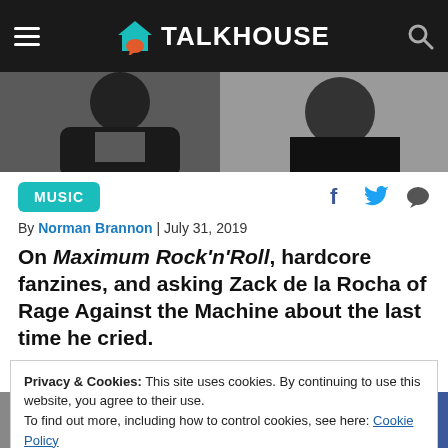TALKHOUSE
[Figure (photo): Black and white photo of two people, cropped showing partial faces/shoulders]
MUSIC
By Norman Brannon | July 31, 2019
On Maximum Rock'n'Roll, hardcore fanzines, and asking Zack de la Rocha of Rage Against the Machine about the last time he cried.
Privacy & Cookies: This site uses cookies. By continuing to use this website, you agree to their use.
To find out more, including how to control cookies, see here: Cookie Policy
Email | Twitter | Facebook